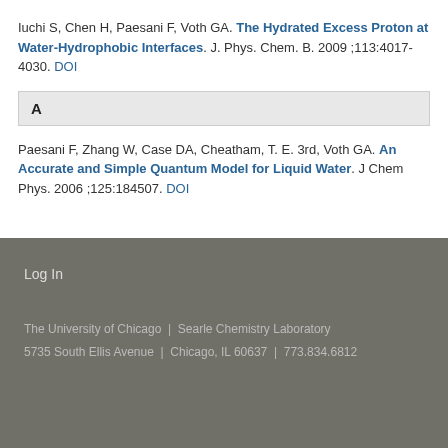Iuchi S, Chen H, Paesani F, Voth GA. The Hydrated Excess Proton at Water-Hydrophobic Interfaces. J. Phys. Chem. B. 2009 ;113:4017-4030. DOI
A
Paesani F, Zhang W, Case DA, Cheatham, T. E. 3rd, Voth GA. An Accurate and Simple Quantum Model for Liquid Water. J Chem Phys. 2006 ;125:184507. DOI
Log In
The University of Chicago | Searle Chemistry Laboratory
5735 South Ellis Avenue | Chicago, IL 60637 | 773.834.6812